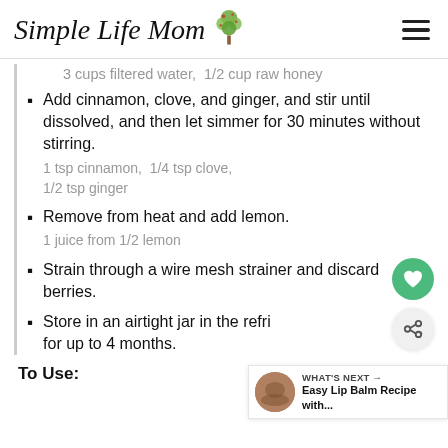Simple Life Mom
3 cups filtered water,  1/2 cup raw honey
Add cinnamon, clove, and ginger, and stir until dissolved, and then let simmer for 30 minutes without stirring.
1 tsp cinnamon,  1/4 tsp clove,
1/2 tsp ginger
Remove from heat and add lemon.
1 juice from 1/2 lemon
Strain through a wire mesh strainer and discard berries.
Store in an airtight jar in the refrigerator for up to 4 months.
To Use: